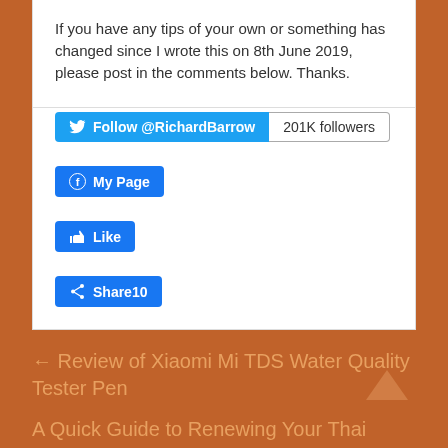If you have any tips of your own or something has changed since I wrote this on 8th June 2019, please post in the comments below. Thanks.
[Figure (screenshot): Twitter Follow @RichardBarrow button with 201K followers badge]
[Figure (screenshot): Facebook My Page button]
[Figure (screenshot): Facebook Like button]
[Figure (screenshot): Facebook Share 10 button]
← Review of Xiaomi Mi TDS Water Quality Tester Pen
A Quick Guide to Renewing Your Thai Driving License in Bangkok →
10 thoughts on "A Quick Guide to